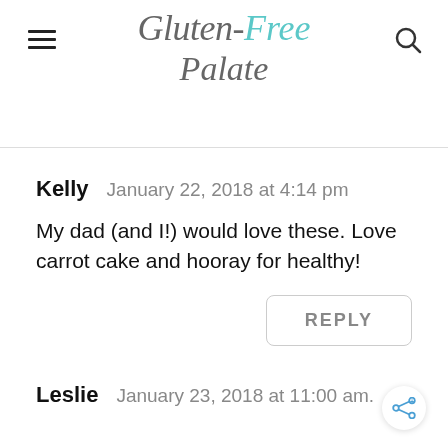Gluten-Free Palate
Kelly   January 22, 2018 at 4:14 pm
My dad (and I!) would love these. Love carrot cake and hooray for healthy!
REPLY
Leslie   January 23, 2018 at 11:00 am.